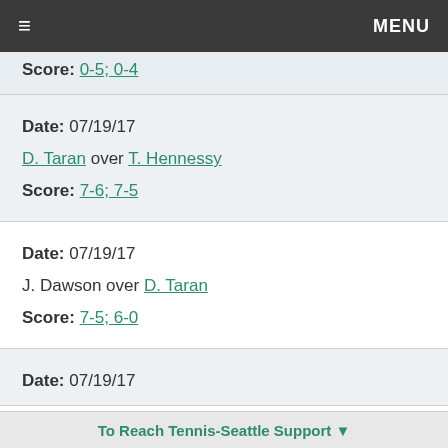≡  MENU
Score: 0-5; 0-4
Date: 07/19/17
D. Taran over T. Hennessy
Score: 7-6; 7-5
Date: 07/19/17
J. Dawson over D. Taran
Score: 7-5; 6-0
Date: 07/19/17
To Reach Tennis-Seattle Support ▼